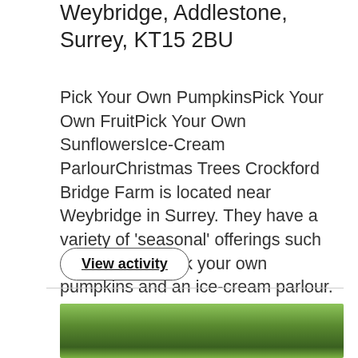Crockford Bridge Farm, New Haw Rd, Weybridge, Addlestone, Surrey, KT15 2BU
Pick Your Own PumpkinsPick Your Own FruitPick Your Own SunflowersIce-Cream ParlourChristmas Trees Crockford Bridge Farm is located near Weybridge in Surrey. They have a variety of 'seasonal' offerings such as PYO fruit, pick your own pumpkins and an ice-cream parlour. Pick Your Own Pumpkins - PYO Pumpkin Patch "Join...
View activity
[Figure (photo): Photo of tree branches with green leaves against a light sky background]